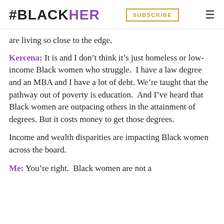#BLACKHER | SUBSCRIBE
are living so close to the edge.
Kercena: It is and I don’t think it’s just homeless or low-income Black women who struggle.  I have a law degree and an MBA and I have a lot of debt. We’re taught that the pathway out of poverty is education.  And I’ve heard that Black women are outpacing others in the attainment of degrees. But it costs money to get those degrees.
Income and wealth disparities are impacting Black women across the board.
Me: You’re right.  Black women are not a